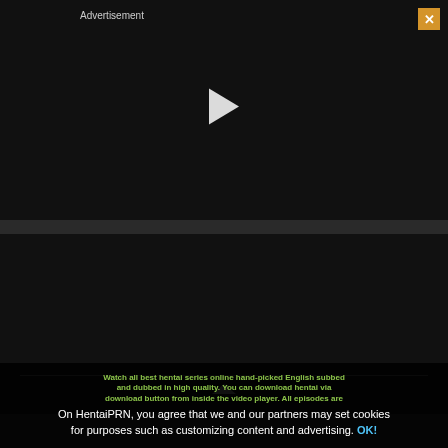[Figure (screenshot): Black video player area with Advertisement label, orange close button with X, and white play button triangle in center]
[Figure (screenshot): Banner advertisement showing adult game promotion with text PORN ADVEN START NO, PLAY GAME 100% FREE button, and in the wild text]
Watch all best hentai series online hand-picked English subbed and dubbed in high quality. You can download hentai via download button from inside the video player. All episodes are
On HentaiPRN, you agree that we and our partners may set cookies for purposes such as customizing content and advertising. OK!